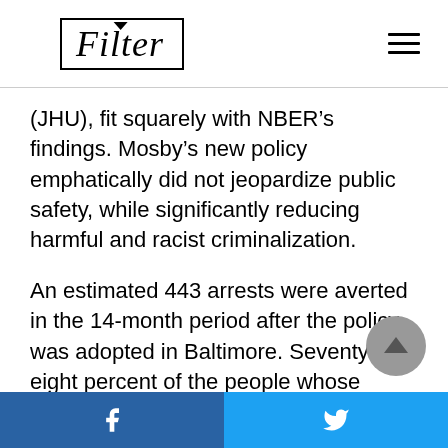Filter
(JHU), fit squarely with NBER’s findings. Mosby’s new policy emphatically did not jeopardize public safety, while significantly reducing harmful and racist criminalization.
An estimated 443 arrests were averted in the 14-month period after the policy was adopted in Baltimore. Seventy-eight percent of the people whose arrests were prevented were Black, in a city that
Facebook | Twitter